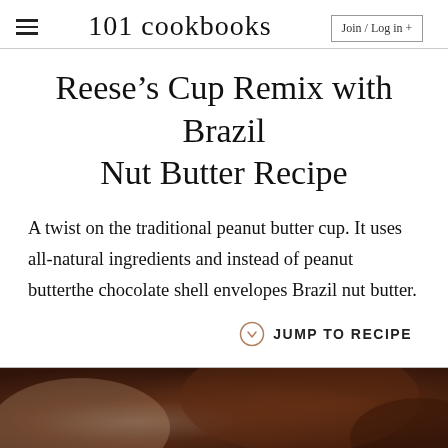101 cookbooks | Join / Log in +
Reese’s Cup Remix with Brazil Nut Butter Recipe
A twist on the traditional peanut butter cup. It uses all-natural ingredients and instead of peanut butterthe chocolate shell envelopes Brazil nut butter.
JUMP TO RECIPE
[Figure (photo): Close-up blurry photo of chocolate Brazil nut butter cups, brown tones]